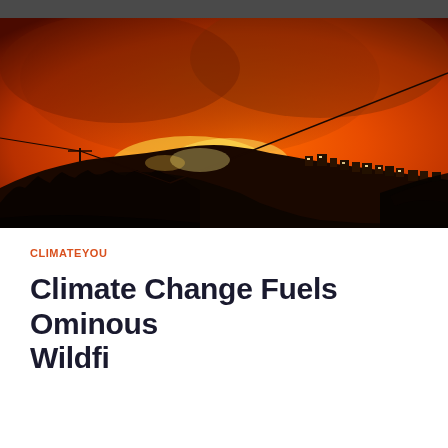[Figure (photo): Wildfire burning on a hillside at night with an intense orange sky, structures visible on the hillside, power lines in the foreground]
CLIMATEYOU
Climate Change Fuels Ominous Wildfires